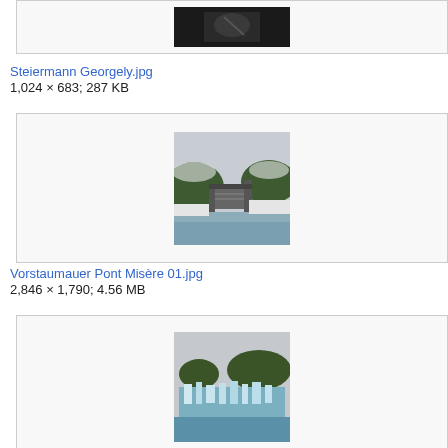[Figure (photo): Partial view of top image box showing a dark photo of a person (musician) at top of page]
Steiermann Georgely.jpg
1,024 × 683; 287 KB
[Figure (photo): Photo of Vorstaumauer Pont Misère: a dam/weir structure on a river in winter with snow on the banks and forested hills in background]
Vorstaumauer Pont Misère 01.jpg
2,846 × 1,790; 4.56 MB
[Figure (photo): Partial view of another winter dam/weir photo with icy water and frozen structures visible]